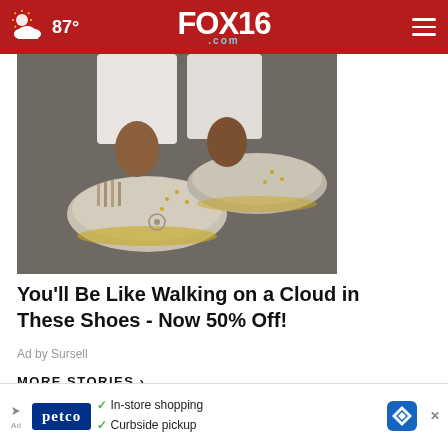FOX16.com — 87°
[Figure (photo): Close-up photo of decorative slip-on shoes with studded and fringe detailing, worn by a person standing on pavement]
You'll Be Like Walking on a Cloud in These Shoes - Now 50% Off!
Ad by Sursell
MORE STORIES ›
[Figure (photo): Thumbnail photo of a building exterior with red brick]
Former Lonoke County deputy convicted of negligent …
[Figure (screenshot): Petco advertisement banner with in-store shopping and curbside pickup options, and a navigation icon]